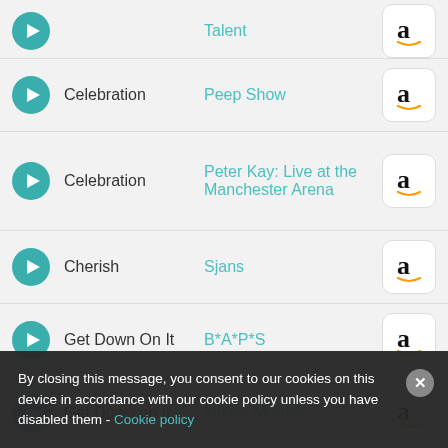Talent
Celebration | Peep Show
Celebration | Peter Kay: Live at the Manchester Arena
Cherish | Sjans
Get Down On It | B*A*P*S
Get Down on It | Mike's Murder
Get Down on It | Dancing with the
Jungle Boogie | That 70s Show
By closing this message, you consent to our cookies on this device in accordance with our cookie policy unless you have disabled them - Cookie policy